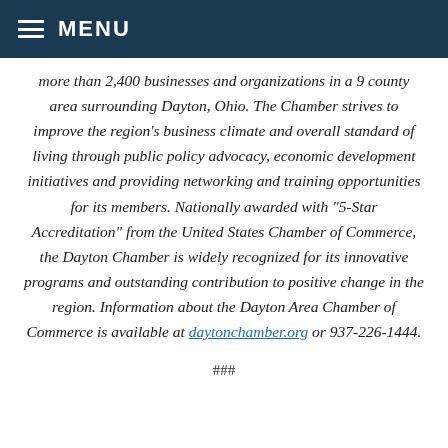MENU
more than 2,400 businesses and organizations in a 9 county area surrounding Dayton, Ohio. The Chamber strives to improve the region’s business climate and overall standard of living through public policy advocacy, economic development initiatives and providing networking and training opportunities for its members. Nationally awarded with “5-Star Accreditation” from the United States Chamber of Commerce, the Dayton Chamber is widely recognized for its innovative programs and outstanding contribution to positive change in the region. Information about the Dayton Area Chamber of Commerce is available at daytonchamber.org or 937-226-1444.
###